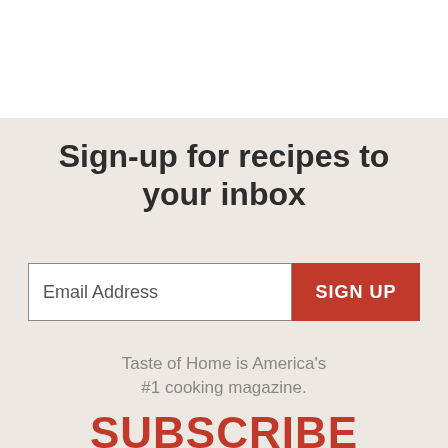Sign-up for recipes to your inbox
Email Address
SIGN UP
Taste of Home is America's #1 cooking magazine.
SUBSCRIBE